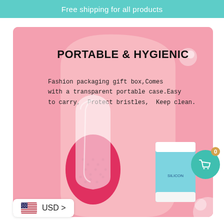Free shipping for all products
[Figure (photo): Product promotional image showing a pink silicon facial cleansing brush with a transparent portable case, displayed on a pink background with an arch frame. Text overlay reads 'PORTABLE & HYGIENIC' and describes features. A teal product box is partially visible in the background.]
PORTABLE & HYGIENIC
Fashion packaging gift box,Comes with a transparent portable case.Easy to carry,  Protect bristles,  Keep clean.
USD >